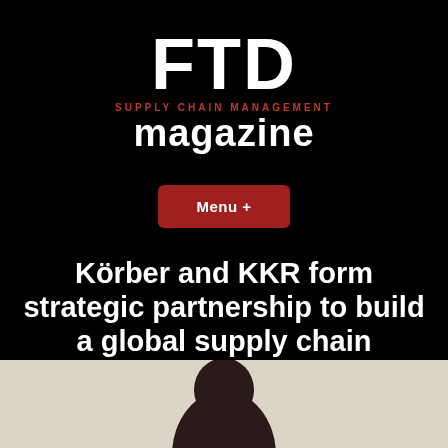[Figure (logo): FTD Supply Chain Management magazine logo in white and red on black background]
[Figure (other): Red button labeled Menu +]
Körber and KKR form strategic partnership to build a global supply chain software champion
[Figure (photo): Partial photo of a person visible at the bottom of the page on a light background]